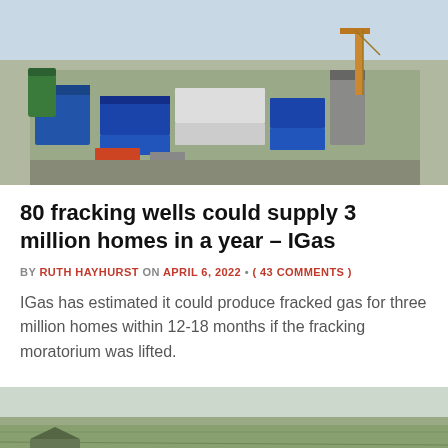[Figure (photo): Aerial view of a fracking/drilling site with industrial equipment, blue containers, and machinery]
80 fracking wells could supply 3 million homes in a year – IGas
BY RUTH HAYHURST ON APRIL 6, 2022 • ( 43 COMMENTS )
IGas has estimated it could produce fracked gas for three million homes within 12-18 months if the fracking moratorium was lifted.
[Figure (photo): Aerial view of flat agricultural farmland landscape]